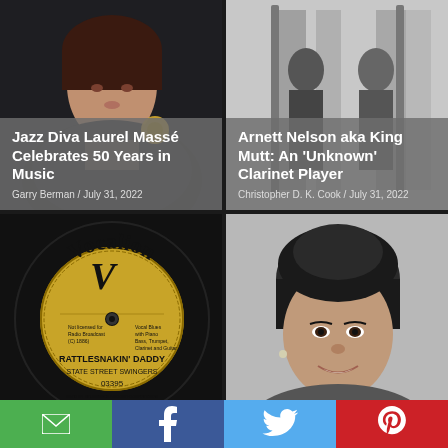[Figure (photo): Photo of Jazz Diva Laurel Massé, woman in dark blazer with flower pin]
Jazz Diva Laurel Massé Celebrates 50 Years in Music
Garry Berman / July 31, 2022
[Figure (photo): Black and white photo of Arnett Nelson aka King Mutt with clarinet instruments visible]
Arnett Nelson aka King Mutt: An 'Unknown' Clarinet Player
Christopher D. K. Cook / July 31, 2022
[Figure (photo): Vocalion record label showing Rattlesnakin' Daddy by State Street Swingers, catalog number 03395]
[Figure (photo): Black and white portrait of a smiling African-American woman]
Email | Facebook | Twitter | Pinterest